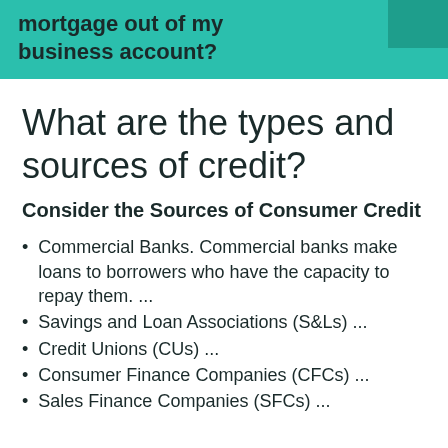mortgage out of my business account?
What are the types and sources of credit?
Consider the Sources of Consumer Credit
Commercial Banks. Commercial banks make loans to borrowers who have the capacity to repay them. ...
Savings and Loan Associations (S&Ls) ...
Credit Unions (CUs) ...
Consumer Finance Companies (CFCs) ...
Sales Finance Companies (SFCs) ...